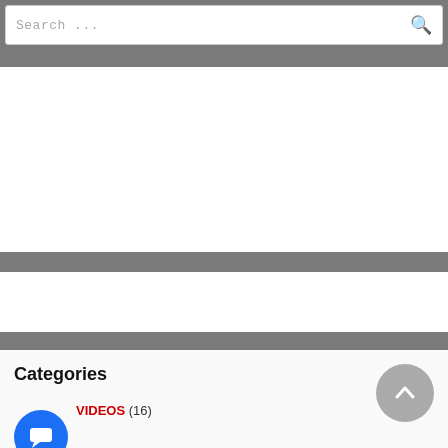Search ...
[Figure (other): Large white empty content block (advertisement or content placeholder)]
[Figure (other): Small white empty content block (advertisement or content placeholder)]
Categories
VIDEOS (16)